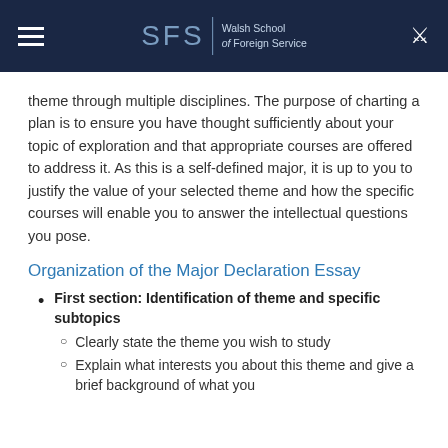SFS | Walsh School of Foreign Service
theme through multiple disciplines. The purpose of charting a plan is to ensure you have thought sufficiently about your topic of exploration and that appropriate courses are offered to address it. As this is a self-defined major, it is up to you to justify the value of your selected theme and how the specific courses will enable you to answer the intellectual questions you pose.
Organization of the Major Declaration Essay
First section: Identification of theme and specific subtopics
Clearly state the theme you wish to study
Explain what interests you about this theme and give a brief background of what you